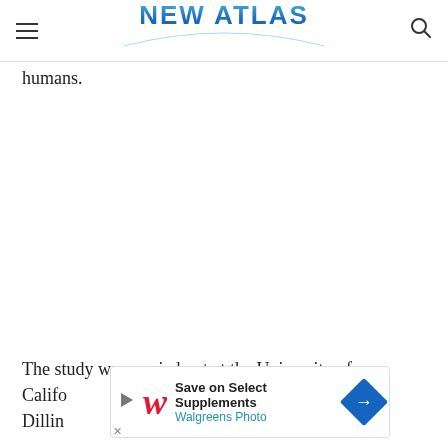NEW ATLAS
humans.
The study was carried out at the University of Califo... Dilling... erapy
[Figure (screenshot): Walgreens Photo advertisement banner: 'Save on Select Supplements' with Walgreens Photo branding and navigation arrow icon]